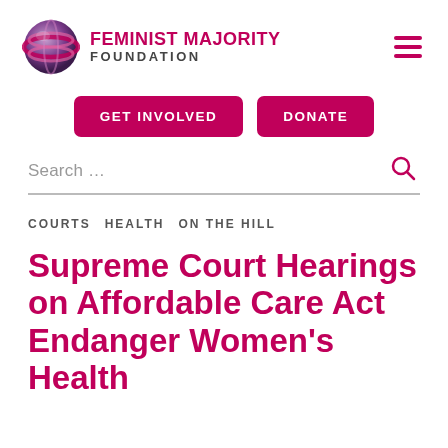[Figure (logo): Feminist Majority Foundation logo with purple globe and text]
FEMINIST MAJORITY FOUNDATION
GET INVOLVED   DONATE
Search …
COURTS   HEALTH   ON THE HILL
Supreme Court Hearings on Affordable Care Act Endanger Women's Health